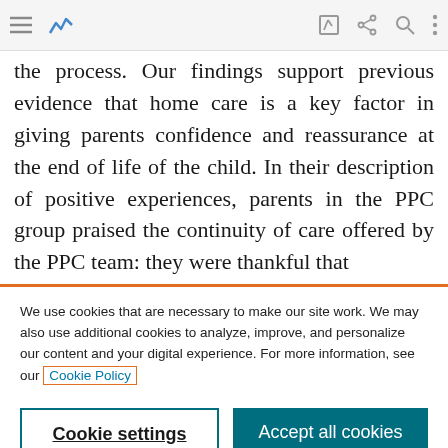[Browser toolbar with menu, logo, edit, share, search, more icons]
the process. Our findings support previous evidence that home care is a key factor in giving parents confidence and reassurance at the end of life of the child. In their description of positive experiences, parents in the PPC group praised the continuity of care offered by the PPC team: they were thankful that
We use cookies that are necessary to make our site work. We may also use additional cookies to analyze, improve, and personalize our content and your digital experience. For more information, see our Cookie Policy
Cookie settings
Accept all cookies